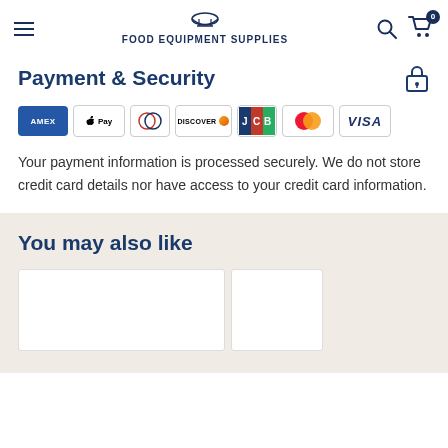FOOD EQUIPMENT SUPPLIES
Payment & Security
[Figure (logo): Payment method icons: AMEX, Apple Pay, Diners Club, Discover, JCB, Mastercard, Visa]
Your payment information is processed securely. We do not store credit card details nor have access to your credit card information.
You may also like